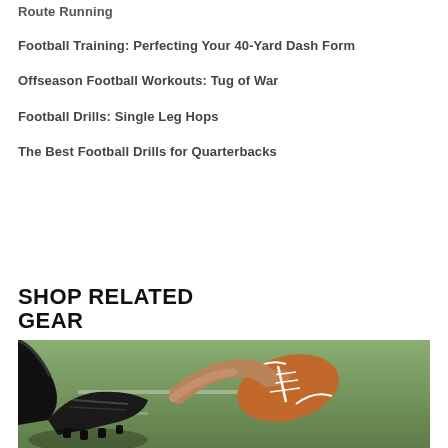Route Running
Football Training: Perfecting Your 40-Yard Dash Form
Offseason Football Workouts: Tug of War
Football Drills: Single Leg Hops
The Best Football Drills for Quarterbacks
SHOP RELATED GEAR
[Figure (photo): Close-up photo of a football player's cleats and a football on a grass field]